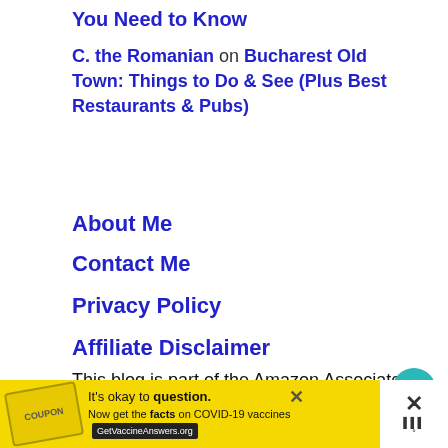You Need to Know
C. the Romanian on Bucharest Old Town: Things to Do & See (Plus Best Restaurants & Pubs)
About Me
Contact Me
Privacy Policy
Affiliate Disclaimer
This blog is part of the Amazon Associates program, meaning that we will get a
[Figure (screenshot): COVID-19 vaccine information advertisement banner with yellow background, showing 'It's okay to question.' tagline and 'Now get the facts on COVID-19 vaccines' with GetVaccineAnswers.org button]